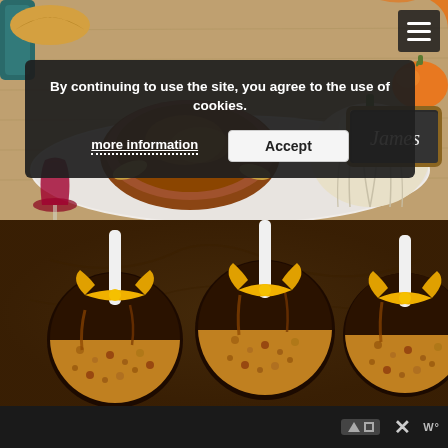[Figure (photo): Thanksgiving table spread with roasted chicken/turkey on a white tray, a cream/white ribbed pumpkin, a small orange pumpkin, a chalkboard name card reading 'James', a red wine glass, and autumnal table decorations on a burlap runner.]
[Figure (photo): Close-up of caramel apples coated in chopped nuts with yellow ribbon bows tied around the sticks, arranged on a surface with some twigs.]
By continuing to use the site, you agree to the use of cookies.
more information
Accept